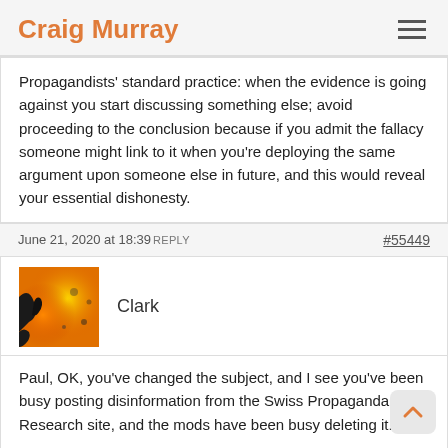Craig Murray
Propagandists' standard practice: when the evidence is going against you start discussing something else; avoid proceeding to the conclusion because if you admit the fallacy someone might link to it when you're deploying the same argument upon someone else in future, and this would reveal your essential dishonesty.
June 21, 2020 at 18:39 REPLY   #55449
Clark
Paul, OK, you've changed the subject, and I see you've been busy posting disinformation from the Swiss Propaganda Research site, and the mods have been busy deleting it.
As with the "MMR causes autism" hoax, I have strong reasons to